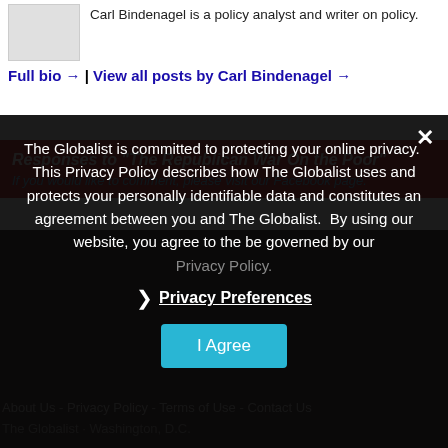[Figure (photo): Author photo placeholder box, gray rectangle]
Carl Bindenagel is a policy analyst and writer on policy.
Full bio → | View all posts by Carl Bindenagel →
Responses to "The Republican War On the Poor"
If you would like to comment, please visit our Facebook page.
The Globalist is committed to protecting your online privacy.  This Privacy Policy describes how The Globalist uses and protects your personally identifiable data and constitutes an agreement between you and The Globalist.  By using our website, you agree to the be governed by our
Privacy Policy.
❯  Privacy Preferences
I Agree
About Us - Privacy Policy - Terms of Use - Contact Us
The Globalist · Washington, D.C.